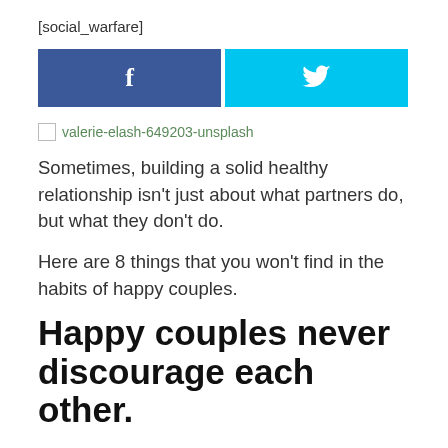[social_warfare]
[Figure (infographic): Social share buttons: Facebook (blue) and Twitter (cyan/light blue)]
[Figure (illustration): Broken image placeholder with alt text: valerie-elash-649203-unsplash]
Sometimes, building a solid healthy relationship isn't just about what partners do, but what they don't do.
Here are 8 things that you won't find in the habits of happy couples.
Happy couples never discourage each other.
Two people who love and care for each other would be...